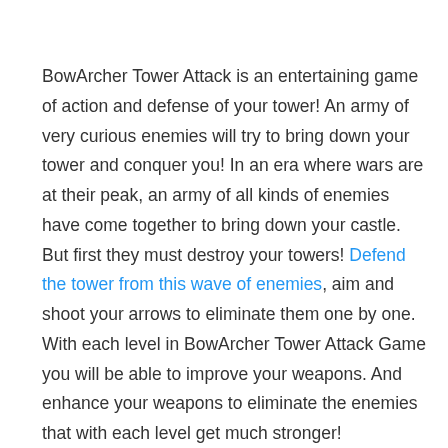BowArcher Tower Attack is an entertaining game of action and defense of your tower! An army of very curious enemies will try to bring down your tower and conquer you! In an era where wars are at their peak, an army of all kinds of enemies have come together to bring down your castle. But first they must destroy your towers! Defend the tower from this wave of enemies, aim and shoot your arrows to eliminate them one by one. With each level in BowArcher Tower Attack Game you will be able to improve your weapons. And enhance your weapons to eliminate the enemies that with each level get much stronger!

BowArcher Tower Attack Game is one of many web based games on RoundGames for you to play online without